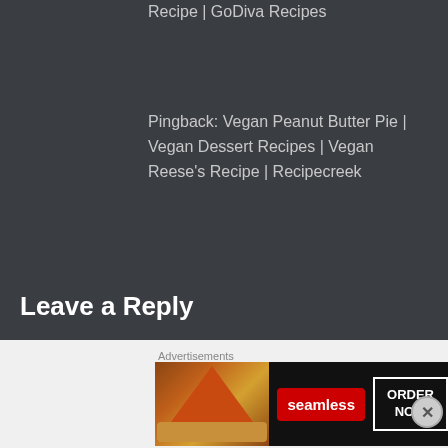Recipe | GoDiva Recipes
Pingback: Vegan Peanut Butter Pie | Vegan Dessert Recipes | Vegan Reese's Recipe | Recipecreek
Leave a Reply
Your email address will not be published. Required fields are marked *
[Figure (screenshot): Seamless advertisement banner showing pizza image, Seamless red logo button, and ORDER NOW button]